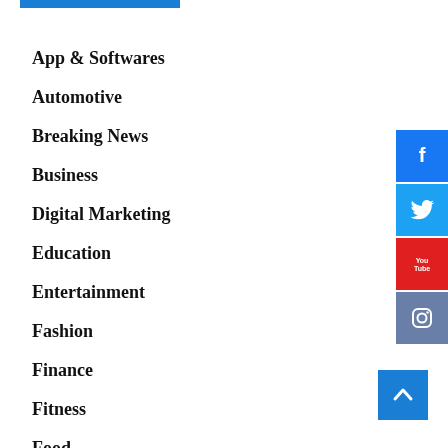[Figure (other): Blue horizontal bar at top]
App & Softwares
Automotive
Breaking News
Business
Digital Marketing
Education
Entertainment
Fashion
Finance
Fitness
Food
General
[Figure (other): Social media icons on the right side: Facebook, Twitter, YouTube, Instagram buttons]
[Figure (other): Scroll-to-top button (blue with chevron up)]